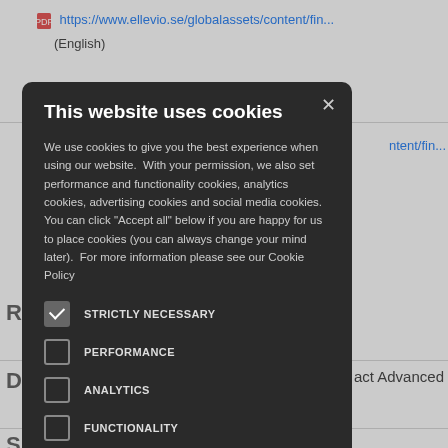https://www.ellevio.se/globalassets/content/fin... (English)
https://www.ellevio.se/globalassets/content/fin...
This website uses cookies
We use cookies to give you the best experience when using our website.  With your permission, we also set performance and functionality cookies, analytics cookies, advertising cookies and social media cookies.  You can click "Accept all" below if you are happy for us to place cookies (you can always change your mind later).  For more information please see our Cookie Policy
STRICTLY NECESSARY
PERFORMANCE
ANALYTICS
FUNCTIONALITY
SOCIAL MEDIA